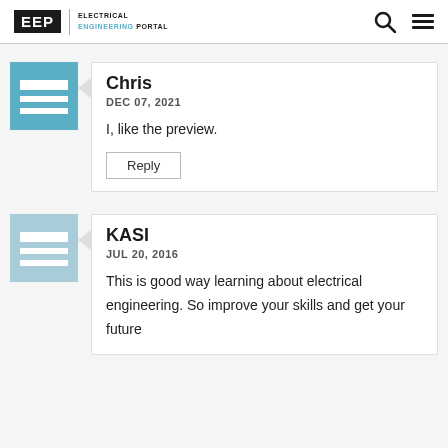EEP | ELECTRICAL ENGINEERING PORTAL
Chris
DEC 07, 2021
I, like the preview.
KASI
JUL 20, 2016
This is good way learning about electrical engineering. So improve your skills and get your future